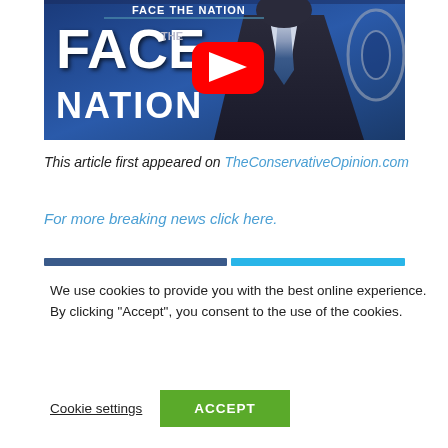[Figure (screenshot): YouTube video thumbnail for Face the Nation CBS News segment, showing a man in a dark suit with a blue tie in front of a blue studio backdrop with 'FACE THE NATION' text, and a red YouTube play button overlay.]
This article first appeared on TheConservativeOpinion.com
For more breaking news click here.
We use cookies to provide you with the best online experience. By clicking "Accept", you consent to the use of the cookies.
Cookie settings
ACCEPT